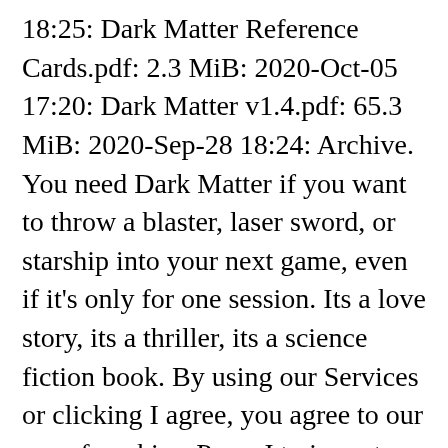18:25: Dark Matter Reference Cards.pdf: 2.3 MiB: 2020-Oct-05 17:20: Dark Matter v1.4.pdf: 65.3 MiB: 2020-Sep-28 18:24: Archive. You need Dark Matter if you want to throw a blaster, laser sword, or starship into your next game, even if it's only for one session. Its a love story, its a thriller, its a science fiction book. By using our Services or clicking I agree, you agree to our use of cookies. Press J to jump to the feed. Mage Hand Press is a third party publisher producing 5th edition content under the OGL. Your next character could be an Amoeboid, a shapeshifting ooze-person, a Vect, a living construct of magical technology, or an Avia-Ra, a bird-headed sun worshiper.Gadgeteer: A highly-customizable technological base class